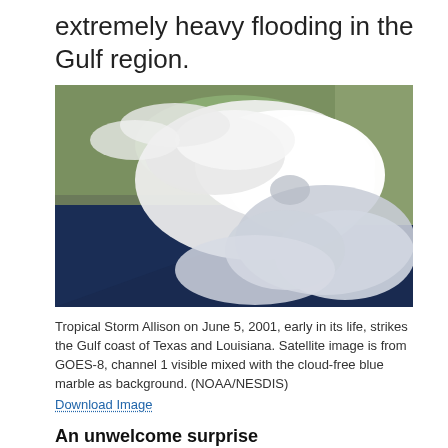extremely heavy flooding in the Gulf region.
[Figure (photo): Satellite image of Tropical Storm Allison on June 5, 2001, showing the storm striking the Gulf coast of Texas and Louisiana. GOES-8 channel 1 visible mixed with cloud-free blue marble background.]
Tropical Storm Allison on June 5, 2001, early in its life, strikes the Gulf coast of Texas and Louisiana. Satellite image is from GOES-8, channel 1 visible mixed with the cloud-free blue marble as background. (NOAA/NESDIS)
Download Image
An unwelcome surprise